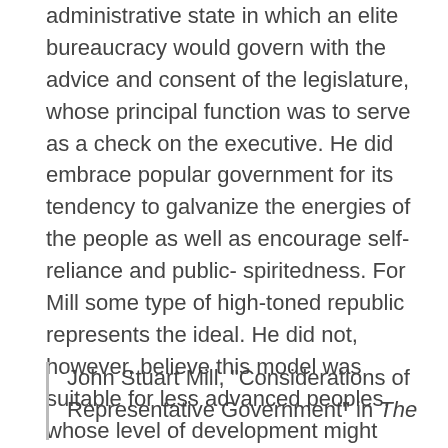administrative state in which an elite bureaucracy would govern with the advice and consent of the legislature, whose principal function was to serve as a check on the executive. He did embrace popular government for its tendency to galvanize the energies of the people as well as encourage self-reliance and public- spiritedness. For Mill some type of high-toned republic represents the ideal. He did not, however, believe this model was suitable for less advanced peoples, whose level of development might require more autocratic methods.
John Stuart Mill, "Considerations of Representative Government" in The